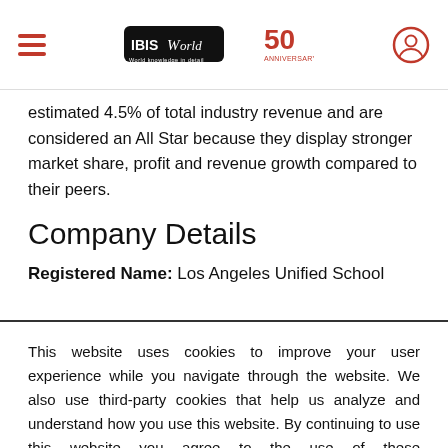IBISWorld 50th Anniversary
estimated 4.5% of total industry revenue and are considered an All Star because they display stronger market share, profit and revenue growth compared to their peers.
Company Details
Registered Name: Los Angeles Unified School
This website uses cookies to improve your user experience while you navigate through the website. We also use third-party cookies that help us analyze and understand how you use this website. By continuing to use this website you agree to the use of these technologies. LEARN MORE
ACCEPT